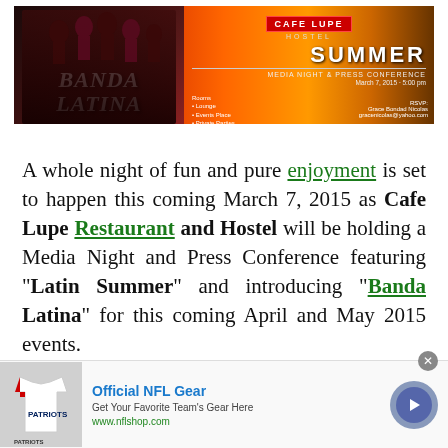[Figure (photo): Banner image for Banda Latina / Latin Summer Media Night event at Cafe Lupe Hostel, March 7, 2015, with sunset background and group photo]
A whole night of fun and pure enjoyment is set to happen this coming March 7, 2015 as Cafe Lupe Restaurant and Hostel will be holding a Media Night and Press Conference featuring "Latin Summer" and introducing "Banda Latina" for this coming April and May 2015 events.
[Figure (photo): Advertisement: Official NFL Gear - Get Your Favorite Team's Gear Here - www.nflshop.com]